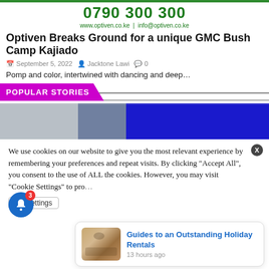0790 300 300
www.optiven.co.ke | info@optiven.co.ke
Optiven Breaks Ground for a unique GMC Bush Camp Kajiado
September 5, 2022   Jacktone Lawi   0
Pomp and color, intertwined with dancing and deep...
POPULAR STORIES
[Figure (photo): Blue and grey geometric background image strip]
We use cookies on our website to give you the most relevant experience by remembering your preferences and repeat visits. By clicking "Accept All", you consent to the use of ALL the cookies. However, you may visit "Cookie Settings" to pro...
kie Settings
[Figure (photo): Notification toast showing 'Guides to an Outstanding Holiday Rentals' with room interior image, 13 hours ago]
Guides to an Outstanding Holiday Rentals
13 hours ago